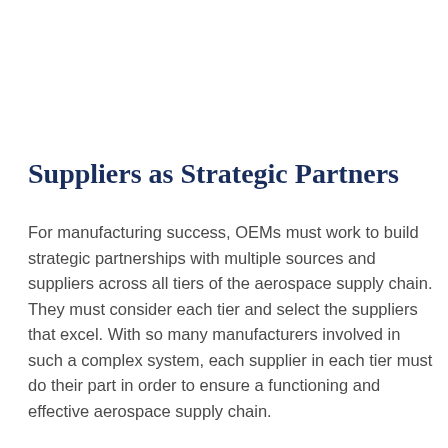Suppliers as Strategic Partners
For manufacturing success, OEMs must work to build strategic partnerships with multiple sources and suppliers across all tiers of the aerospace supply chain. They must consider each tier and select the suppliers that excel. With so many manufacturers involved in such a complex system, each supplier in each tier must do their part in order to ensure a functioning and effective aerospace supply chain.